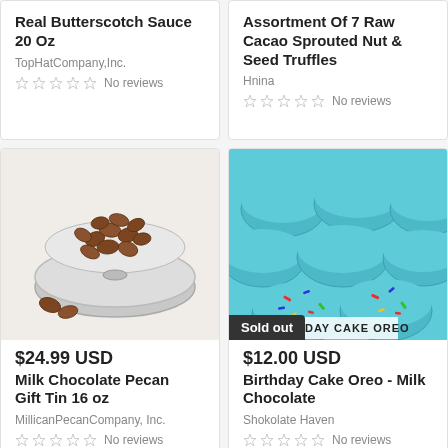Real Butterscotch Sauce 20 Oz
TopHatCompany,Inc.
No reviews
Assortment Of 7 Raw Cacao Sprouted Nut & Seed Truffles
Hnina
No reviews
[Figure (photo): Milk chocolate pecans in a silver tin lid with loose pecans beside it]
$24.99 USD
Milk Chocolate Pecan Gift Tin 16 oz
MillicanPecanCompany, Inc.
No reviews
[Figure (photo): Blue round Birthday Cake Oreo milk chocolates with sprinkles, with a Sold out badge]
$12.00 USD
Birthday Cake Oreo - Milk Chocolate
Shokolate Haven
No reviews